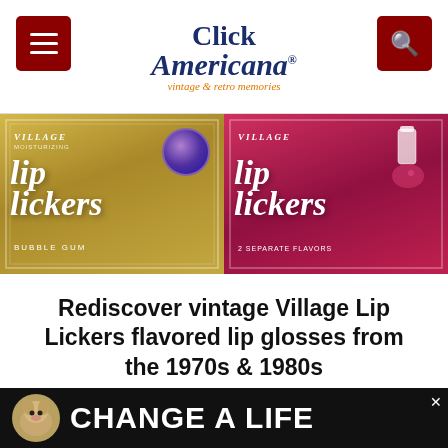Click Americana — vintage & retro memories
[Figure (photo): Two Village Lip Lickers moisturizing lip gloss tins side by side — left tin has gold/yellow coloring with Bubble Gum flavor and a globe decoration, right tin is pink/red with 2 Separate Flavors.]
Rediscover vintage Village Lip Lickers flavored lip glosses from the 1970s & 1980s
[Figure (photo): Green background Sears toy catalog advertisement showing large red-outlined white block letters spelling TOYS with a squirrel illustration.]
[Figure (photo): CHANGE A LIFE advertisement banner with a dog image on dark background.]